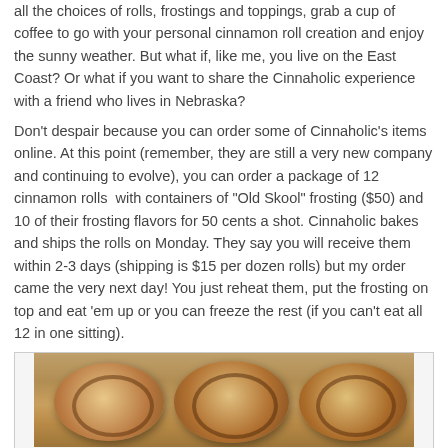all the choices of rolls, frostings and toppings, grab a cup of coffee to go with your personal cinnamon roll creation and enjoy the sunny weather. But what if, like me, you live on the East Coast? Or what if you want to share the Cinnaholic experience with a friend who lives in Nebraska?
Don't despair because you can order some of Cinnaholic's items online. At this point (remember, they are still a very new company and continuing to evolve), you can order a package of 12 cinnamon rolls  with containers of "Old Skool" frosting ($50) and 10 of their frosting flavors for 50 cents a shot. Cinnaholic bakes and ships the rolls on Monday. They say you will receive them within 2-3 days (shipping is $15 per dozen rolls) but my order came the very next day! You just reheat them, put the frosting on top and eat 'em up or you can freeze the rest (if you can't eat all 12 in one sitting).
[Figure (photo): A box of cinnamon rolls viewed from above, showing several large golden-brown swirled rolls packed closely together in a cardboard box.]